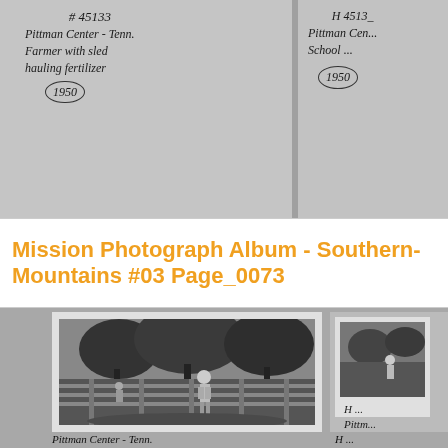[Figure (photo): Top portion of a mission photograph album page showing two photo cards with handwritten labels. Left card reads '#45133 Pittman Center - Tenn. Farmer with sled hauling fertilizer 1950'. Right card partially visible reads '#4513_ Pittman Ce... School... 1950'.]
Mission Photograph Album - Southern-Mountains #03 Page_0073
[Figure (photo): Bottom portion of album page showing a black and white photograph of a school boy walking along a fence line with trees in background. Handwritten caption below reads 'Pittman Center - Tenn. School boy walking along...' with catalog number H 45136. A second partial photograph is visible at right edge.]
Pittman Center - Tenn. School boy walking along